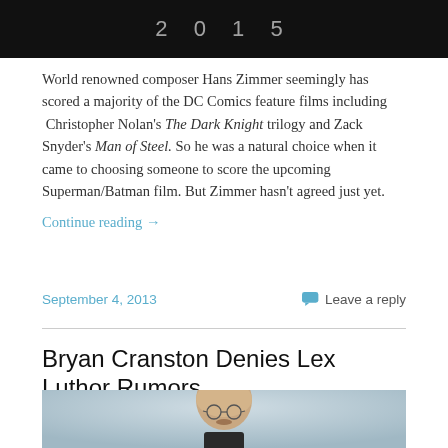[Figure (photo): Dark banner image with text '2015' partially visible in gray letters on a black background]
World renowned composer Hans Zimmer seemingly has scored a majority of the DC Comics feature films including Christopher Nolan's The Dark Knight trilogy and Zack Snyder's Man of Steel. So he was a natural choice when it came to choosing someone to score the upcoming Superman/Batman film. But Zimmer hasn't agreed just yet. Continue reading →
September 4, 2013
Leave a reply
Bryan Cranston Denies Lex Luthor Rumors
[Figure (photo): A bald man with glasses and a goatee/mustache, wearing a dark shirt, photographed against a light blue-grey background — appears to be Bryan Cranston as Walter White]